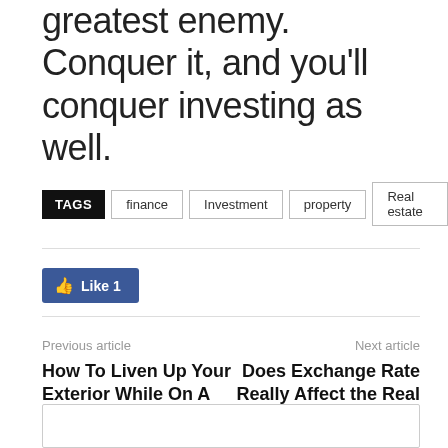greatest enemy. Conquer it, and you'll conquer investing as well.
TAGS  finance  Investment  property  Real estate
[Figure (other): Facebook Like button showing 1 like]
Previous article
Next article
How To Liven Up Your Exterior While On A Budget?
Does Exchange Rate Really Affect the Real Estate Industry